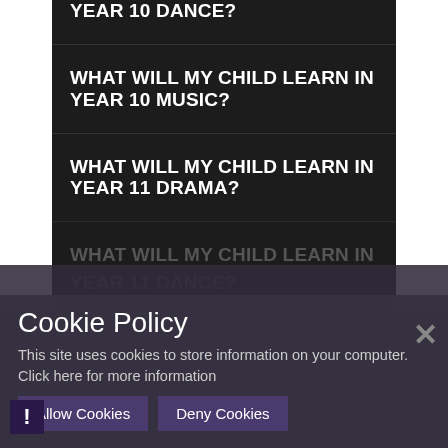YEAR 10 DANCE?
WHAT WILL MY CHILD LEARN IN YEAR 10 MUSIC?
WHAT WILL MY CHILD LEARN IN YEAR 11 DRAMA?
WHAT WILL MY CHILD LEARN IN YEAR 11 DANCE?
WHAT WILL MY CHILD LEARN IN
Cookie Policy
This site uses cookies to store information on your computer. Click here for more information
Allow Cookies
Deny Cookies
YEAR 12 PERFORMING ARTS?